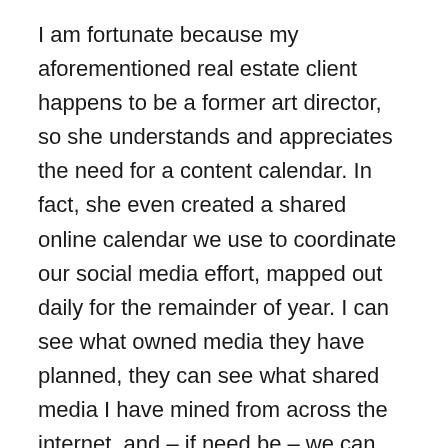I am fortunate because my aforementioned real estate client happens to be a former art director, so she understands and appreciates the need for a content calendar. In fact, she even created a shared online calendar we use to coordinate our social media effort, mapped out daily for the remainder of year. I can see what owned media they have planned, they can see what shared media I have mined from across the internet, and – if need be – we can adjust accordingly. Together, we maintain this content calendar, ensuring that we have a steady stream of relevant posts for their business.
Of course, in an ideal world, this content calendar would be part of a digital marketing plan, which in turn would be part of an overall marketing plan. So, not only would we be sharing these posts on Facebook, but also on other appropriate social media channels as well as through